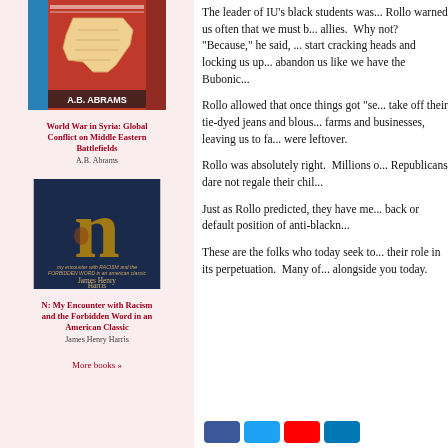[Figure (illustration): Book cover of 'World War in Syria: Global Conflict on Middle Eastern Battlefields' by A.B. Abrams, showing a map of Syria with colorful background]
World War in Syria: Global Conflict on Middle Eastern Battlefields
A.B. Abrams
[Figure (illustration): Book cover of 'N: My Encounter with Racism and the Forbidden Word in an American Classic' by James Henry Harris, dark blue cover with gold letter N]
N: My Encounter with Racism and the Forbidden Word in an American Classic
James Henry Harris
More books »
The leader of IU's black students was... Rollo warned us often that we must b... allies. Why not? "Because," he said, ... start cracking heads and locking us up... abandon us like we have the Bubonic...
Rollo allowed that once things got "se... take off their tie-dyed jeans and blous... farms and businesses, leaving us to fa... were leftover.
Rollo was absolutely right. Millions o... Republicans dare not regale their chil...
Just as Rollo predicted, they have me... back or default position of anti-blackn...
These are the folks who today seek to... their role in its perpetuation. Many of... alongside you today.